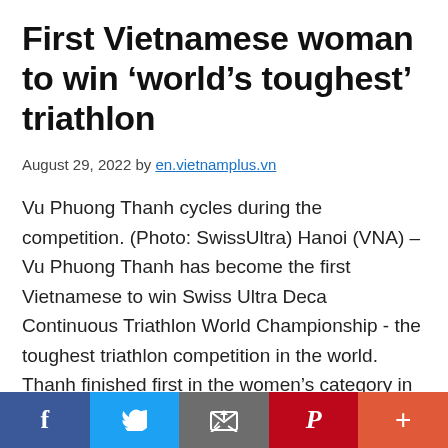First Vietnamese woman to win ‘world’s toughest’ triathlon
August 29, 2022 by en.vietnamplus.vn
Vu Phuong Thanh cycles during the competition. (Photo: SwissUltra) Hanoi (VNA) – Vu Phuong Thanh has become the first Vietnamese to win Swiss Ultra Deca Continuous Triathlon World Championship - the toughest triathlon competition in the world. Thanh finished first in the women’s category in the event which ended in Switzerland on August 29, clocking 328 hours 27 minutes and 55 seconds,
f | Twitter | email | Pinterest | +